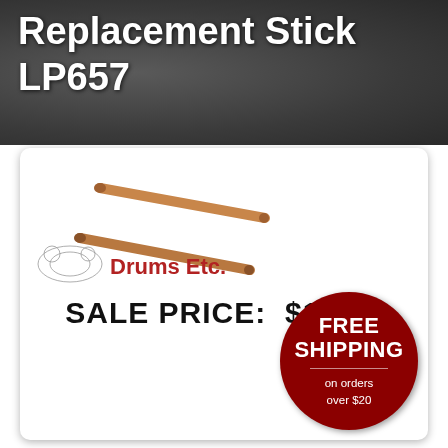Replacement Stick LP657
[Figure (photo): Two wooden drum replacement sticks crossed diagonally, with a Drums Etc. logo below featuring a drum set illustration and red bold text 'Drums Etc.']
SALE PRICE: $12.99
FREE SHIPPING on orders over $20